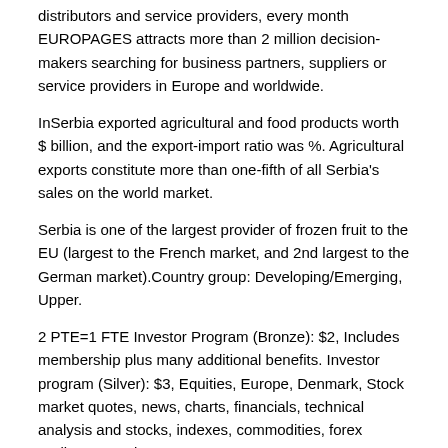distributors and service providers, every month EUROPAGES attracts more than 2 million decision-makers searching for business partners, suppliers or service providers in Europe and worldwide.
InSerbia exported agricultural and food products worth $ billion, and the export-import ratio was %. Agricultural exports constitute more than one-fifth of all Serbia's sales on the world market.
Serbia is one of the largest provider of frozen fruit to the EU (largest to the French market, and 2nd largest to the German market).Country group: Developing/Emerging, Upper.
2 PTE=1 FTE Investor Program (Bronze): $2, Includes membership plus many additional benefits. Investor program (Silver): $3, Equities, Europe, Denmark, Stock market quotes, news, charts, financials, technical analysis and stocks, indexes, commodities, forex trading strategies.
Europe:: Croatia. All Space Capital Places Landscapes. This view features the Dalmatian coastline of Croatia around the city of Split.